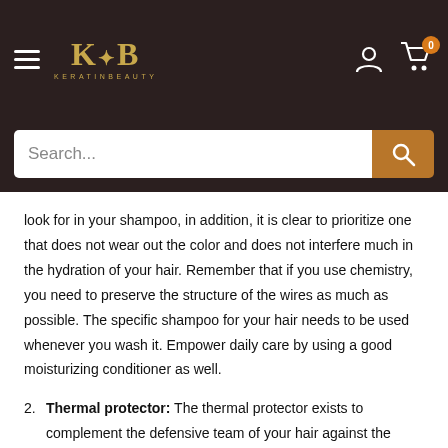KERATINBEAUTY
look for in your shampoo, in addition, it is clear to prioritize one that does not wear out the color and does not interfere much in the hydration of your hair. Remember that if you use chemistry, you need to preserve the structure of the wires as much as possible. The specific shampoo for your hair needs to be used whenever you wash it. Empower daily care by using a good moisturizing conditioner as well.
2. Thermal protector: The thermal protector exists to complement the defensive team of your hair against the harmful effects caused by heat from the flat iron, dryer, babyliss or similar, helping to protect and maintain the fiber and capillary structure, automatically conserving the color And the texture of the wires. Very high temperatures damage the